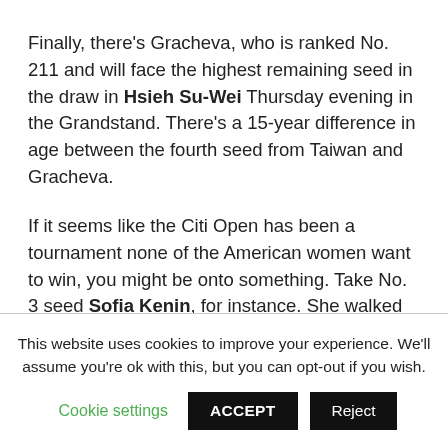Finally, there's Gracheva, who is ranked No. 211 and will face the highest remaining seed in the draw in Hsieh Su-Wei Thursday evening in the Grandstand. There's a 15-year difference in age between the fourth seed from Taiwan and Gracheva.
If it seems like the Citi Open has been a tournament none of the American women want to win, you might be onto something. Take No. 3 seed Sofia Kenin, for instance. She walked out for her second-round match against fellow American
This website uses cookies to improve your experience. We'll assume you're ok with this, but you can opt-out if you wish.